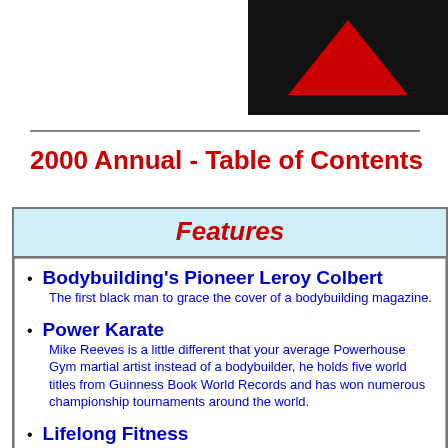[Figure (illustration): Black background with red downward-pointing triangle logo in upper right corner]
2000 Annual - Table of Contents
Features
Bodybuilding's Pioneer Leroy Colbert
The first black man to grace the cover of a bodybuilding magazine.
Power Karate
Mike Reeves is a little different that your average Powerhouse Gym martial artist instead of a bodybuilder, he holds five world titles from Guinness Book World Records and has won numerous championship tournaments around the world.
Lifelong Fitness
How to look great at any age, by Bob Delmonteque, including Bob D's 14 Diet Commandments.
Images
Breast Enhancement. The decisions involved and what you need to